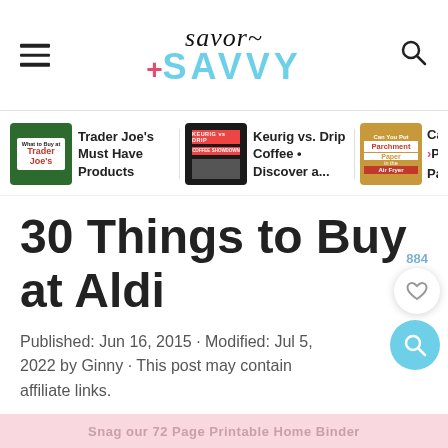Savor +SAVVY
[Figure (screenshot): Navigation card: Trader Joe's Must Have Products thumbnail]
Trader Joe's Must Have Products
[Figure (screenshot): Navigation card: Keurig vs. Drip Coffee • Discover a...]
Keurig vs. Drip Coffee • Discover a...
[Figure (screenshot): Navigation card: Can You Put Parchment Paper in the Air Fryer]
Ca >Pa Pa
30 Things to Buy at Aldi
Published: Jun 16, 2015 · Modified: Jul 5, 2022 by Ginny · This post may contain affiliate links.
Snag our 72 Page Printable Home Binder